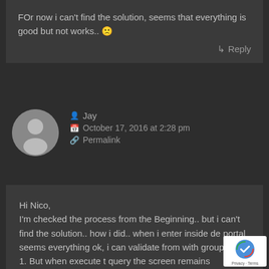FOr now i can't find the solution, seems that everything is good but not works.. 🙁
↳ Reply
Jay
October 17, 2016 at 2:28 pm
Permalink
Hi Nico,

I'm checked the process from the Beginning.. but i can't find the solution.. how i did.. when i enter inside de portal seems everything ok, i can validate from with group portal 1. But when execute t query the screen remains "Loading"